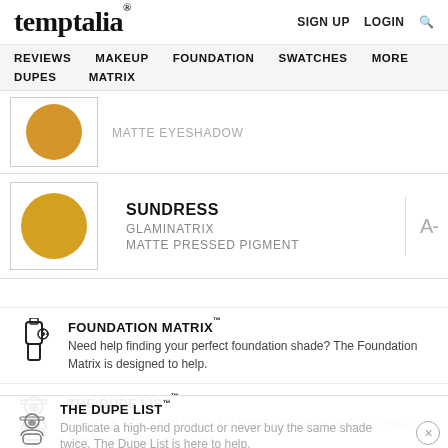temptalia® — SIGN UP  LOGIN  🔍
REVIEWS  MAKEUP  FOUNDATION  SWATCHES  MORE  DUPES  MATRIX
[Figure (photo): Partial product row showing a round yellow-gold eyeshadow swatch in a square frame, with text MATTE EYESHADOW in light grey]
[Figure (photo): Round mustard yellow pressed pigment swatch in a square frame]
SUNDRESS
GLAMINATRIX
MATTE PRESSED PIGMENT
A-
FOUNDATION MATRIX™
Need help finding your perfect foundation shade? The Foundation Matrix is designed to help.
THE DUPE LIST™
Duplicate a high-end product or never buy the same shade twice. The Dupe List is here to help.